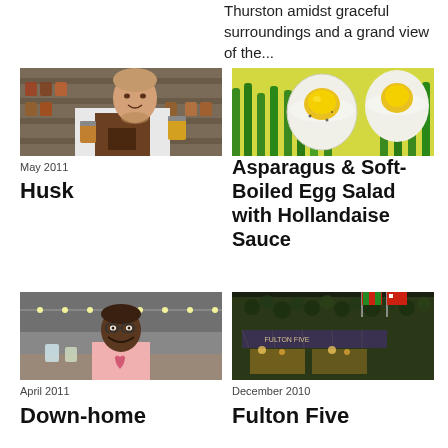Thurston amidst graceful surroundings and a grand view of the...
[Figure (photo): Chef holding jars of preserved foods in front of shelves]
May 2011
Husk
[Figure (photo): Halved soft-boiled eggs on asparagus with hollandaise sauce]
Asparagus & Soft-Boiled Egg Salad with Hollandaise Sauce
[Figure (photo): Woman smiling in restaurant kitchen]
April 2011
Down-home
[Figure (photo): Exterior of Fulton Five restaurant at night with ivy and flags]
December 2010
Fulton Five